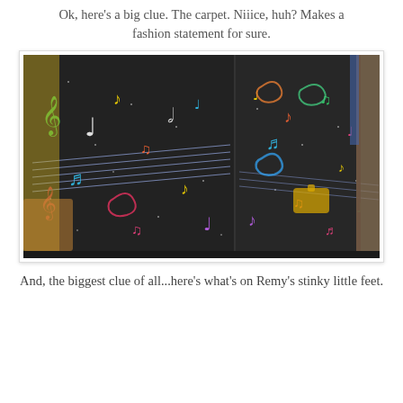Ok, here's a big clue. The carpet. Niiice, huh? Makes a fashion statement for sure.
[Figure (photo): A black carpet with colorful neon music notes, treble clefs, and musical symbols printed on it, shown in a hallway. The carpet is dark/black with multicolored (red, yellow, green, blue, pink, white) musical notes and swirls. Visible room baseboard and door frame on the right side.]
And, the biggest clue of all...here's what's on Remy's stinky little feet.